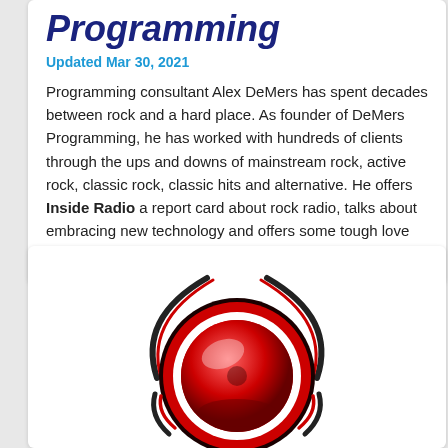Programming
Updated Mar 30, 2021
Programming consultant Alex DeMers has spent decades between rock and a hard place. As founder of DeMers Programming, he has worked with hundreds of clients through the ups and downs of mainstream rock, active rock, classic rock, classic hits and alternative. He offers Inside Radio a report card about rock radio, talks about embracing new technology and offers some tough love for a format he loves. Read more
[Figure (illustration): Red glossy radio button / record button icon with swoosh design elements in red, black and white]